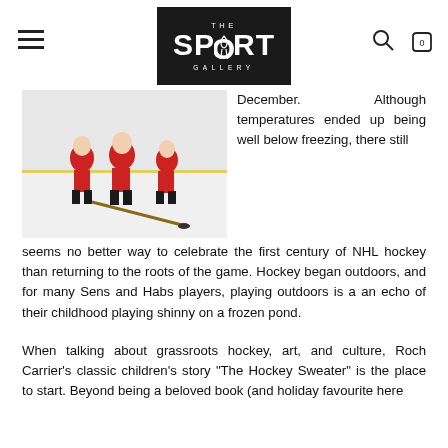THE SPORT GALLERY
[Figure (photo): Hockey players on an outdoor ice rink, wearing red and black uniforms, with hockey sticks and pucks visible on the ice surface.]
December. Although temperatures ended up being well below freezing, there still seems no better way to celebrate the first century of NHL hockey than returning to the roots of the game. Hockey began outdoors, and for many Sens and Habs players, playing outdoors is a an echo of their childhood playing shinny on a frozen pond.
When talking about grassroots hockey, art, and culture, Roch Carrier's classic children's story "The Hockey Sweater" is the place to start. Beyond being a beloved book (and holiday favourite here